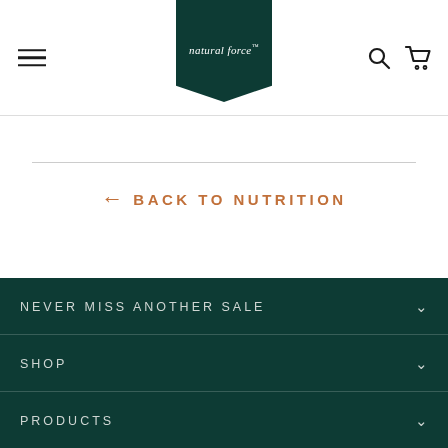[Figure (logo): Natural Force logo in dark green pennant/badge shape with italic serif text]
← BACK TO NUTRITION
NEVER MISS ANOTHER SALE
SHOP
PRODUCTS
CONTENT